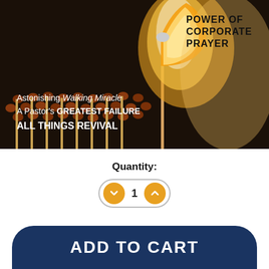[Figure (photo): Book cover showing lit matches with one burning, dark background. Text overlay: 'POWER OF CORPORATE PRAYER', 'Astonishing Walking Miracle', 'A Pastor's GREATEST FAILURE', 'ALL THINGS REVIVAL']
Quantity:
1
ADD TO CART